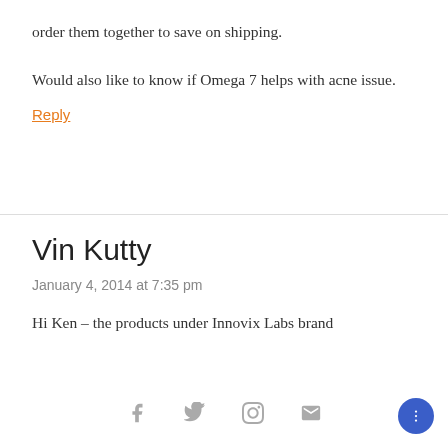order them together to save on shipping.

Would also like to know if Omega 7 helps with acne issue.
Reply
Vin Kutty
January 4, 2014 at 7:35 pm
Hi Ken – the products under Innovix Labs brand